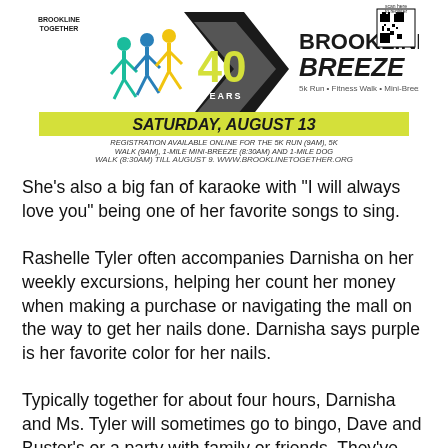[Figure (infographic): Brookline Breeze 40 Years event banner. Saturday, August 13. 5K Run, Fitness Walk, Mini-Breeze. Registration available online for the 5K Run (9AM), 5K Walk (9AM), 1-Mile Mini-Breeze (8:30AM) and 1-Mile Dog Walk (8:30AM) till August 9. www.brooklinetogether.org. QR code for registration. Runners silhouettes in teal/blue/yellow. Brookline Together logo.]
She's also a big fan of karaoke with "I will always love you" being one of her favorite songs to sing.
Rashelle Tyler often accompanies Darnisha on her weekly excursions, helping her count her money when making a purchase or navigating the mall on the way to get her nails done. Darnisha says purple is her favorite color for her nails.
Typically together for about four hours, Darnisha and Ms. Tyler will sometimes go to bingo, Dave and Buster's or a party with family or friends. They've been working together for more than two and a half years.